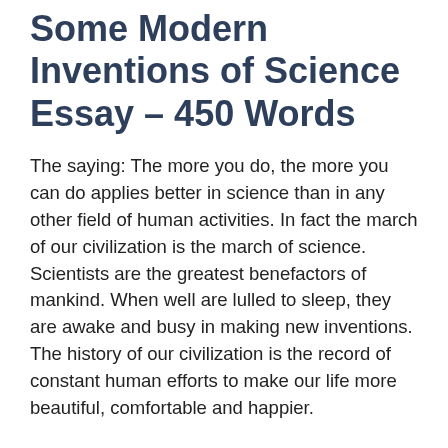Some Modern Inventions of Science Essay – 450 Words
The saying: The more you do, the more you can do applies better in science than in any other field of human activities. In fact the march of our civilization is the march of science. Scientists are the greatest benefactors of mankind. When well are lulled to sleep, they are awake and busy in making new inventions. The history of our civilization is the record of constant human efforts to make our life more beautiful, comfortable and happier.
We are greatly indebted to the scientists and their new inventions. The most commonly used